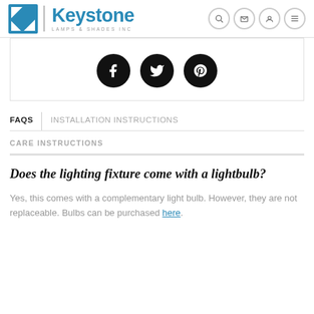Keystone LAMPS & SHADES INC
[Figure (illustration): Three social media icon buttons: Facebook (f), Twitter (bird), Pinterest (p) — black circles on white background]
FAQS | INSTALLATION INSTRUCTIONS
CARE INSTRUCTIONS
Does the lighting fixture come with a lightbulb?
Yes, this comes with a complementary light bulb. However, they are not replaceable. Bulbs can be purchased here.